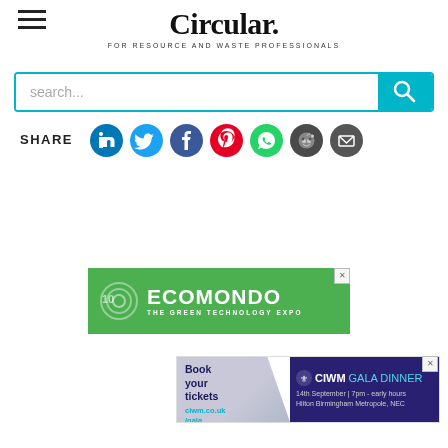Circular. FOR RESOURCE AND WASTE PROFESSIONALS
[Figure (screenshot): Search bar with teal border and teal search button with magnifying glass icon]
SHARE
[Figure (infographic): Social media share icons: LinkedIn (blue), Twitter (light blue), Facebook (dark blue), Pinterest (red), WhatsApp (green), Reddit (dark grey), Email (dark grey)]
[Figure (infographic): CIWM Gala Dinner advertisement banner. Book your tickets ciwm.co.uk/gala. 14th September | 7pm - early hours. Hilton Birmingham Metropole, NEC.]
[Figure (infographic): Ecomondo - The Green Technology Expo advertisement banner with green background and logo.]